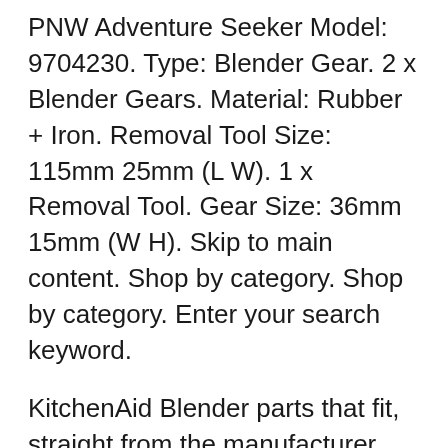PNW Adventure Seeker Model: 9704230. Type: Blender Gear. 2 x Blender Gears. Material: Rubber + Iron. Removal Tool Size: 115mm 25mm (L W). 1 x Removal Tool. Gear Size: 36mm 15mm (W H). Skip to main content. Shop by category. Shop by category. Enter your search keyword.
KitchenAid Blender parts that fit, straight from the manufacturer. Use our interactive diagrams, accessories, and expert repair help to fix your KitchenAid Blender . Enter Model Number Here. How do I find my model number? Popular KitchenAid Blender Parts Foot, Base. Visit the post for more. Kitchenaid blender parts ksb50b3 image is loading kitchenaid classic blender ksb50b3 w electronic control black kitchenaid 56 ounce blender pitcher with black lid вЂ¦